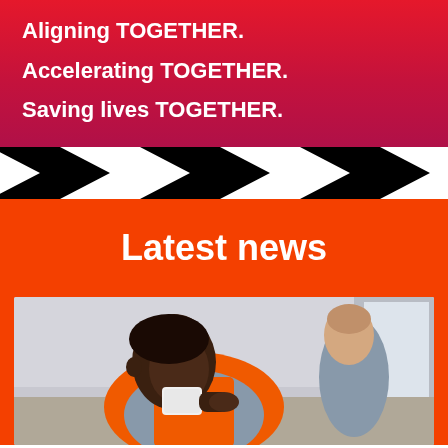Aligning TOGETHER.
Accelerating TOGETHER.
Saving lives TOGETHER.
[Figure (illustration): Black and white chevron/zigzag pattern band separating sections]
Latest news
[Figure (photo): A person wearing an orange vest/shirt drinking from a cup or receiving a vaccine/medical procedure, photographed in an indoor setting]